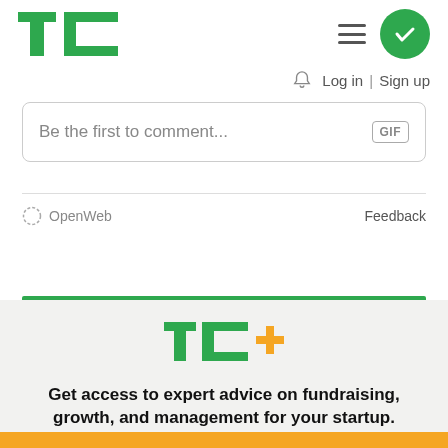[Figure (logo): TechCrunch TC logo in green]
[Figure (illustration): Hamburger menu icon (three horizontal lines)]
[Figure (illustration): Green circle with white checkmark]
Log in | Sign up
Be the first to comment...
GIF
OpenWeb
Feedback
[Figure (logo): TC+ logo in green with yellow plus sign]
Get access to expert advice on fundraising, growth, and management for your startup.
EXPLORE NOW